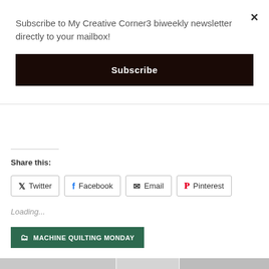Subscribe to My Creative Corner3 biweekly newsletter directly to your mailbox!
Subscribe
×
Share this:
Twitter
Facebook
Email
Pinterest
Loading...
MACHINE QUILTING MONDAY